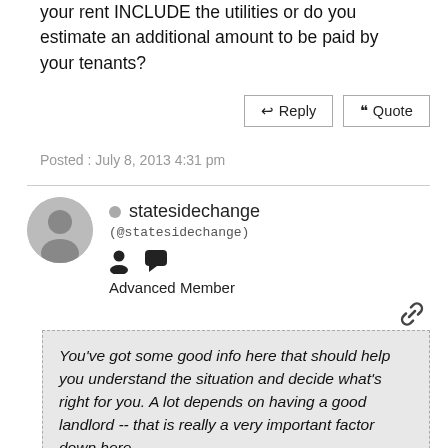your rent INCLUDE the utilities or do you estimate an additional amount to be paid by your tenants?
Reply | Quote
Posted : July 8, 2013 4:31 pm
statesidechange (@statesidechange) Advanced Member
You've got some good info here that should help you understand the situation and decide what's right for you. A lot depends on having a good landlord -- that is really a very important factor down here